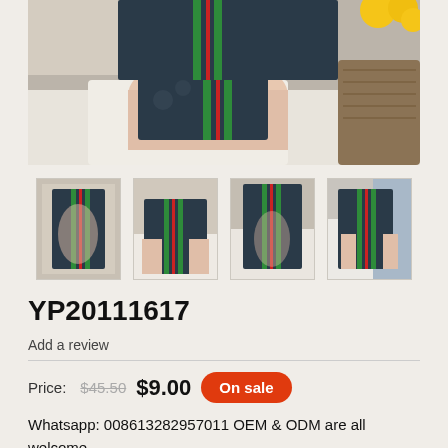[Figure (photo): Main product image showing a person wearing dark patterned short-sleeve pajama set with green and red stripes, reclining on a bed with yellow fruits visible]
[Figure (photo): Thumbnail 1: Person in dark patterned pajama set sitting]
[Figure (photo): Thumbnail 2: Person in dark patterned pajama set on bed]
[Figure (photo): Thumbnail 3: Person in dark patterned pajama set standing]
[Figure (photo): Thumbnail 4: Person in dark patterned pajama set sitting on bed]
YP20111617
Add a review
Price:  $45.50  $9.00  On sale
Whatsapp: 008613282957011 OEM & ODM are all welcome.